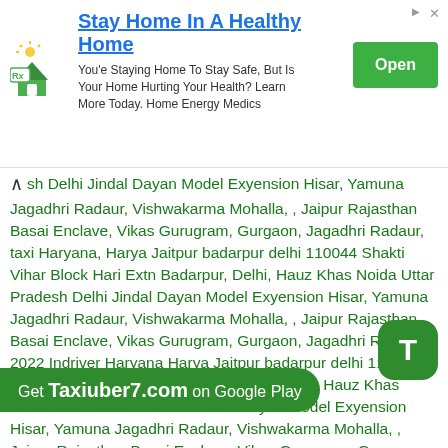[Figure (screenshot): Advertisement banner: house icon with Rx label, title 'Stay Home In A Health Home', body text about home health, green Open button, sponsored markers]
sh Delhi Jindal Dayan Model Exyension Hisar, Yamuna Jagadhri Radaur, Vishwakarma Mohalla, , Jaipur Rajasthan Basai Enclave, Vikas Gurugram, Gurgaon, Jagadhri Radaur, taxi Haryana, Harya Jaitpur badarpur delhi 110044 Shakti Vihar Block Hari Extn Badarpur, Delhi, Hauz Khas Noida Uttar Pradesh Delhi Jindal Dayan Model Exyension Hisar, Yamuna Jagadhri Radaur, Vishwakarma Mohalla, , Jaipur Rajasthan Basai Enclave, Vikas Gurugram, Gurgaon, Jagadhri Radaur, 2022 Indriver Haryana Harya Jaitpur badarpur delhi 110044 Shakti Vihar Block Hari Extn Badarpur, Delhi, Hauz Khas Noida Uttar Pradesh Delhi Jindal Dayan Model Exyension Hisar, Yamuna Jagadhri Radaur, Vishwakarma Mohalla, , Jaipur Rajasthan Basai Enclave, Vikas Gurugram, Gurgaon, Jagadhri Radaur, 2022 poparide Haryana, Harya Jaitpur badarpur delhi 110044 Shakti Vihar Block Hari Extn Badarpur, Delhi, Hauz Khas Noida Uttar Pradesh Delhi Dayan Model Exyension Hisar, Yamuna Jagadhri Radaur, Vishwakarma Mohalla, , Jaipur Rajasthan Basai Enclave, Vikas Gurugram, Gurgaon, Jagadhri Radaur, ...110044 Shakti Vihar Block Hari Extn Badarpur, Delhi, Hauz Khas Noida Uttar Pradesh
Get Taxiuber7.com on Google Play